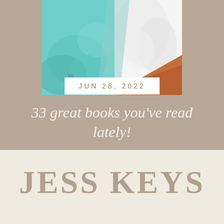[Figure (photo): Close-up photo of soft fabric — teal/turquoise blanket or throw on the left and white textured fabric on the right, with a hint of orange/rust fabric at bottom right corner]
JUN 28, 2022
33 great books you've read lately!
JESS KEYS